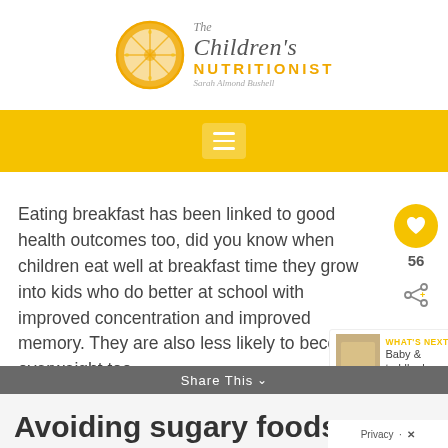[Figure (logo): The Children's Nutritionist logo — orange slice icon with 'The Children's NUTRITIONIST' text and 'Sarah Almond Bushell' script underneath]
hamburger menu navigation bar (yellow background)
Eating breakfast has been linked to good health outcomes too, did you know when children eat well at breakfast time they grow into kids who do better at school with improved concentration and improved memory. They are also less likely to become overweight too.
Avoiding sugary foods
Share This